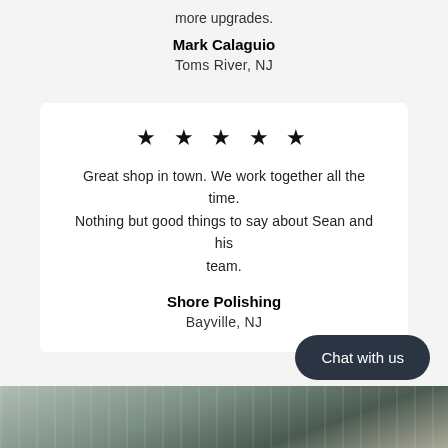more upgrades.
Mark Calaguio
Toms River, NJ
★ ★ ★ ★ ★
Great shop in town. We work together all the time. Nothing but good things to say about Sean and his team.
Shore Polishing
Bayville, NJ
Chat with us
[Figure (photo): Partial view of a notebook or textured surface at the bottom of the page]